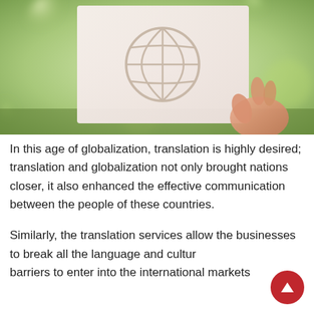[Figure (photo): A hand holding up a white paper card with a globe/world icon cut out of it, against a blurred green outdoor background.]
In this age of globalization, translation is highly desired; translation and globalization not only brought nations closer, it also enhanced the effective communication between the people of these countries.
Similarly, the translation services allow the businesses to break all the language and cultural barriers to enter into the international markets swiftly and can help you to thrive your business